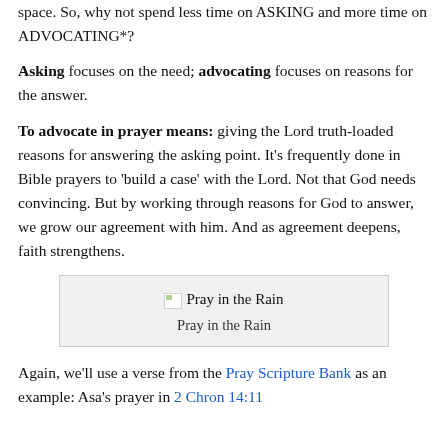space. So, why not spend less time on ASKING and more time on ADVOCATING*?
Asking focuses on the need; advocating focuses on reasons for the answer.
To advocate in prayer means: giving the Lord truth-loaded reasons for answering the asking point. It's frequently done in Bible prayers to 'build a case' with the Lord. Not that God needs convincing. But by working through reasons for God to answer, we grow our agreement with him. And as agreement deepens, faith strengthens.
[Figure (illustration): Image placeholder with text 'Pray in the Rain' and caption below]
Pray in the Rain
Again, we'll use a verse from the Pray Scripture Bank as an example: Asa's prayer in 2 Chron 14:11